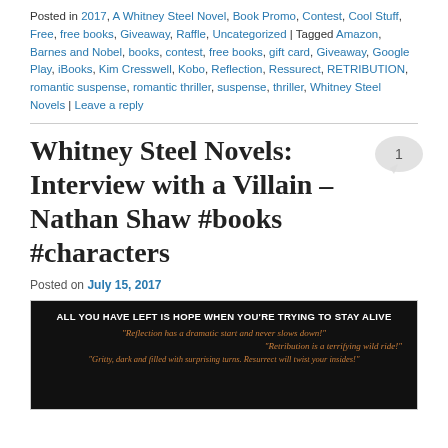Posted in 2017, A Whitney Steel Novel, Book Promo, Contest, Cool Stuff, Free, free books, Giveaway, Raffle, Uncategorized | Tagged Amazon, Barnes and Nobel, books, contest, free books, gift card, Giveaway, Google Play, iBooks, Kim Cresswell, Kobo, Reflection, Ressurect, RETRIBUTION, romantic suspense, romantic thriller, suspense, thriller, Whitney Steel Novels | Leave a reply
Whitney Steel Novels: Interview with a Villain – Nathan Shaw #books #characters
Posted on July 15, 2017
[Figure (illustration): Dark book promo image with text: ALL YOU HAVE LEFT IS HOPE WHEN YOU'RE TRYING TO STAY ALIVE, followed by three italic orange quotes about the books Reflection, Retribution, and Resurrect.]